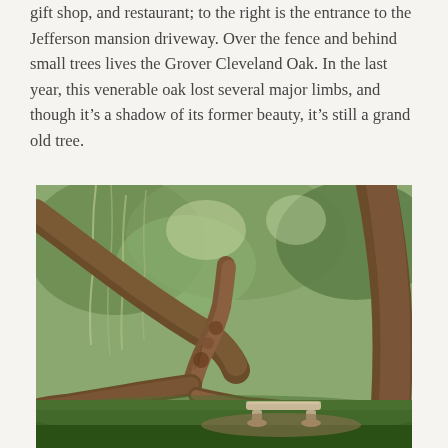gift shop, and restaurant; to the right is the entrance to the Jefferson mansion driveway. Over the fence and behind small trees lives the Grover Cleveland Oak. In the last year, this venerable oak lost several major limbs, and though it's a shadow of its former beauty, it's still a grand old tree.
[Figure (photo): A large, ancient gnarled oak tree with sprawling twisted branches draped with Spanish moss. In the foreground is a stone bench beneath the heavy limbs. The background shows a lush green wooded garden setting.]